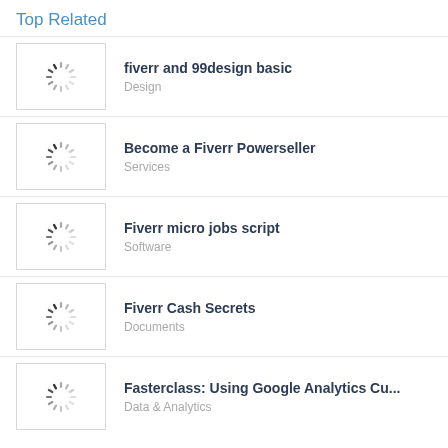Top Related
fiverr and 99design basic
Design
Become a Fiverr Powerseller
Services
Fiverr micro jobs script
Software
Fiverr Cash Secrets
Documents
Fasterclass: Using Google Analytics Cu...
Data & Analytics